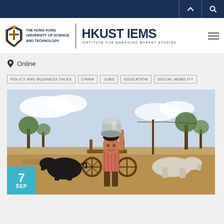HKUST IEMS - Institute for Emerging Market Studies
Online
POLICY AND BUSINESS TALKS
CHINA
JOBS
EDUCATION
SOCIAL MOBILITY
[Figure (photo): Young boy in rural arid landscape carrying a large metal water pot on his head, with cows and a wooden cart in the background. Date badge shows 7 SEP in cyan/teal.]